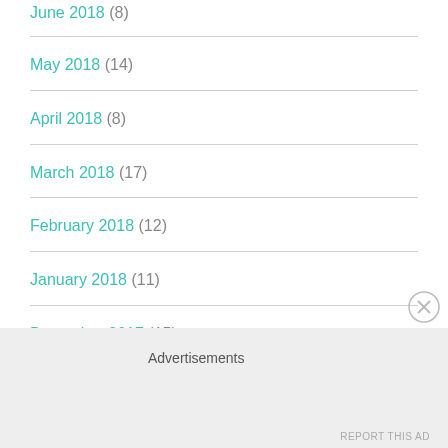June 2018 (8)
May 2018 (14)
April 2018 (8)
March 2018 (17)
February 2018 (12)
January 2018 (11)
December 2017 (15)
Advertisements
REPORT THIS AD